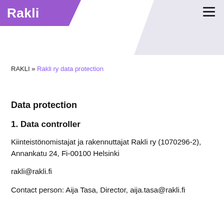Rakli
RAKLI » Rakli ry data protection
Data protection
1. Data controller
Kiinteistönomistajat ja rakennuttajat Rakli ry (1070296-2), Annankatu 24, Fi-00100 Helsinki
rakli@rakli.fi
Contact person: Aija Tasa, Director, aija.tasa@rakli.fi